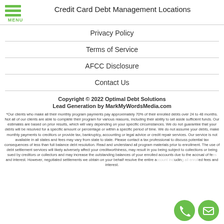Credit Card Debt Management Locations
Privacy Policy
Terms of Service
AFCC Disclosure
Contact Us
Copyright © 2022 Optimal Debt Solutions
Lead Generation by MarkMyWordsMedia.com
*Our clients who make all their monthly program payments pay approximately 70% of their enrolled debts over 24 to 48 months. Not all of our clients are able to complete their program for various reasons, including their ability to set aside sufficient funds. Our estimates are based on prior results, which will vary depending on your specific circumstances. We do not guarantee that your debts will be resolved for a specific amount or percentage or within a specific period of time. We do not assume your debts, make monthly payments to creditors or provide tax, bankruptcy, accounting or legal advice or credit repair services. Our service is not available in all states and fees may vary from state to state. Please contact a tax professional to discuss potential tax consequences of less than full balance debt resolution. Read and understand all program materials prior to enrollment. The use of debt settlement services will likely adversely affect your creditworthiness, may result in you being subject to collections or being sued by creditors or collectors and may increase the outstanding balances of your enrolled accounts due to the accrual of fees and interest. However, negotiated settlements we obtain on your behalf resolve the entire account including all enrolled fees and interest.